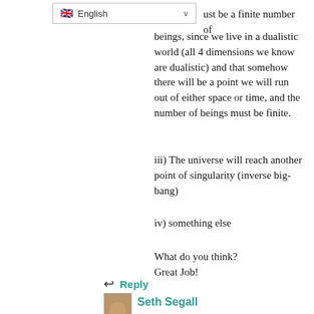[Figure (screenshot): Language selector dropdown showing UK flag and 'English' with dropdown arrow]
ust be a finite number of beings, since we live in a dualistic world (all 4 dimensions we know are dualistic) and that somehow there will be a point we will run out of either space or time, and the number of beings must be finite.
iii) The universe will reach another point of singularity (inverse big-bang)
iv) something else
What do you think?
Great Job!
Reply
[Figure (photo): Small avatar photo of Seth Segall]
Seth Segall